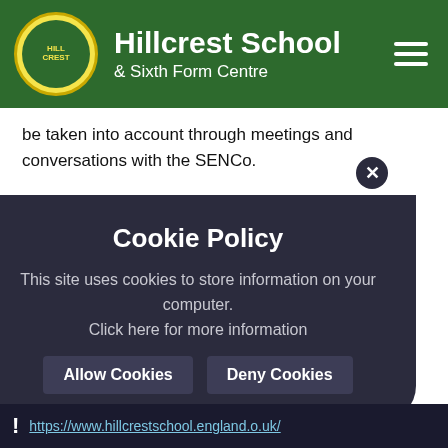Hillcrest School & Sixth Form Centre
be taken into account through meetings and conversations with the SENCo.
Further support with homework is offered at lunchtime and after school and is also provided for students who need additional help when English is not their first language.
For more information, visit the local offer, which affects those students who access the learning support provision.
Cookie Policy
This site uses cookies to store information on your computer.
Click here for more information
Allow Cookies  Deny Cookies
! https://www.hillcrestschool.england.o.uk/